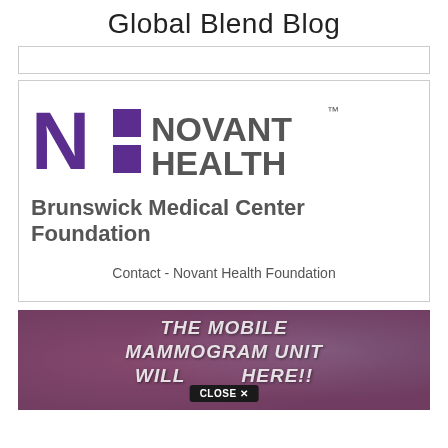Global Blend Blog
[Figure (logo): Empty white card/placeholder box at top]
[Figure (logo): Novant Health logo with Brunswick Medical Center Foundation text and Contact - Novant Health Foundation link]
[Figure (photo): Photo banner reading THE MOBILE MAMMOGRAM UNIT WILL BE HERE!! with a CLOSE X button overlay]